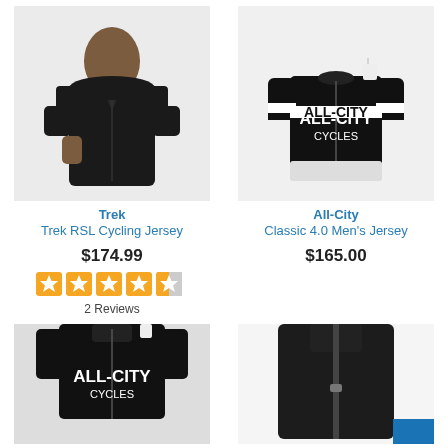[Figure (photo): Man wearing black Trek RSL cycling jersey]
Trek
Trek RSL Cycling Jersey
$174.99
[Figure (infographic): 4.5 star rating shown as orange stars]
2 Reviews
[Figure (photo): All-City Classic 4.0 Men's Jersey, black with white All-City Cycles branding]
All-City
Classic 4.0 Men's Jersey
$165.00
[Figure (photo): All-City cycling jersey, black, partial view from bottom of page]
[Figure (photo): Dark jacket or jersey with zipper, partial view from bottom of page]